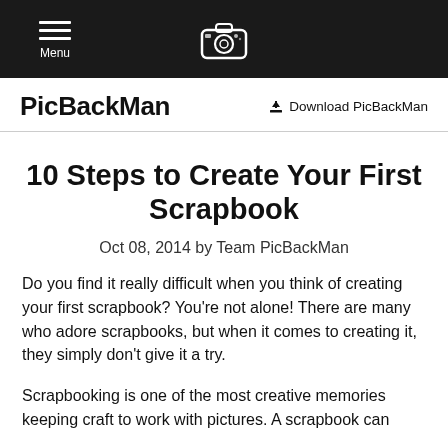Menu [hamburger icon] [camera icon]
PicBackMan
Download PicBackMan
10 Steps to Create Your First Scrapbook
Oct 08, 2014  by Team PicBackMan
Do you find it really difficult when you think of creating your first scrapbook? You're not alone! There are many who adore scrapbooks, but when it comes to creating it, they simply don't give it a try.
Scrapbooking is one of the most creative memories keeping craft to work with pictures. A scrapbook can